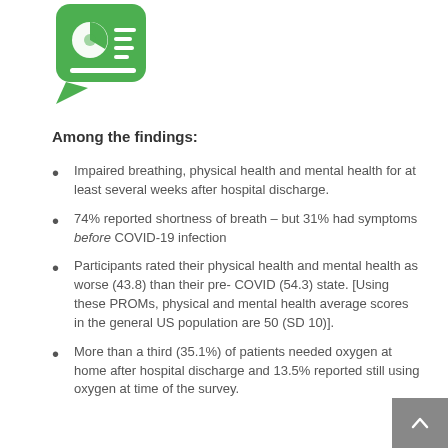[Figure (logo): Green speech bubble icon with a pie chart and list lines inside]
Among the findings:
Impaired breathing, physical health and mental health for at least several weeks after hospital discharge.
74% reported shortness of breath – but 31% had symptoms before COVID-19 infection
Participants rated their physical health and mental health as worse (43.8) than their pre- COVID (54.3) state. [Using these PROMs, physical and mental health average scores in the general US population are 50 (SD 10)].
More than a third (35.1%) of patients needed oxygen at home after hospital discharge and 13.5% reported still using oxygen at time of the survey.